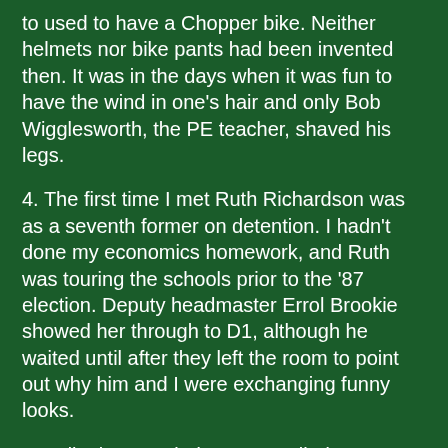to used to have a Chopper bike. Neither helmets nor bike pants had been invented then. It was in the days when it was fun to have the wind in one's hair and only Bob Wigglesworth, the PE teacher, shaved his legs.
4. The first time I met Ruth Richardson was as a seventh former on detention. I hadn't done my economics homework, and Ruth was touring the schools prior to the '87 election. Deputy headmaster Errol Brookie showed her through to D1, although he waited until after they left the room to point out why him and I were exchanging funny looks.
5. A district court judge once called me a wanker. Off course, he was drunk as a lord at the time.
6. When in Oz, I stayed at a backpackers in Cairns where 90 percent of the occupants were Irish. There were so many Emerald Islanders, I picked up a lilt in my accent and ended up travelling with three wonderful girls; Emer, Bebhinn and Dierdre.
7. Osama Bin Laden personally ruined my OE. I went to Oz